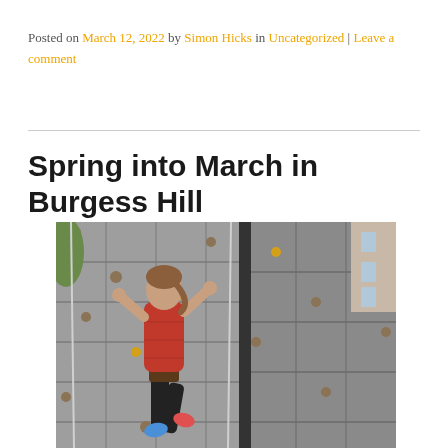Posted on March 12, 2022 by Simon Hicks in Uncategorized | Leave a comment
Spring into March in Burgess Hill
[Figure (photo): A person wearing a red puffer vest and harness climbing an outdoor rock climbing wall, with a blue sky and buildings visible in the background.]